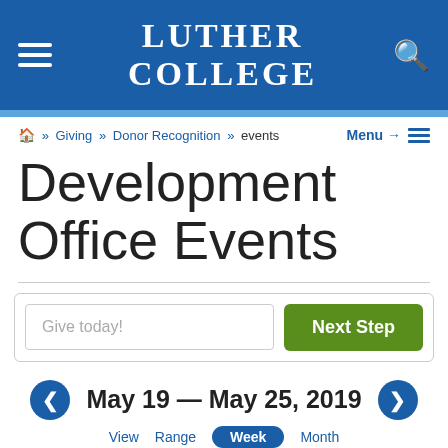Luther College
Home » Giving » Donor Recognition » events
Menu →
Development Office Events
Give today! | Next Step
◀ May 19 — May 25, 2019 ▶
View · Range · Week · Month